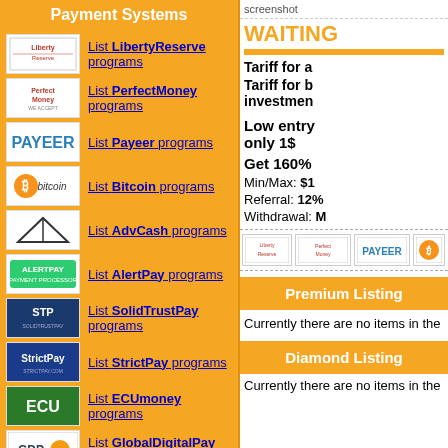Payment Systems
List LibertyReserve programs
List PerfectMoney programs
List Payeer programs
List Bitcoin programs
List AdvCash programs
List AlertPay programs
List SolidTrustPay programs
List StrictPay programs
List ECUmoney programs
List GlobalDigitalPay programs
List C-Gold programs
List MoneyBookers programs
List Pecunix programs
Partners Links
WAITING
Tariff for a
Tariff for b investment
Low entry only 1$
Get 160%
Min/Max: $1
Referral: 12%
Withdrawal: M
Premium Listing
Currently there are no items in the
Diamond Listing
Currently there are no items in the